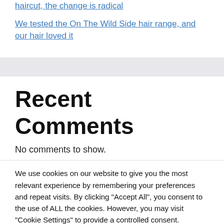haircut, the change is radical
We tested the On The Wild Side hair range, and our hair loved it
Recent Comments
No comments to show.
We use cookies on our website to give you the most relevant experience by remembering your preferences and repeat visits. By clicking "Accept All", you consent to the use of ALL the cookies. However, you may visit "Cookie Settings" to provide a controlled consent.